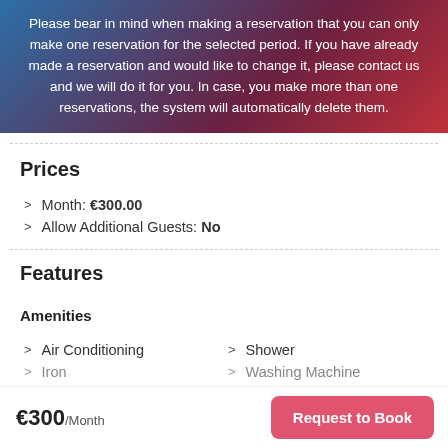Please bear in mind when making a reservation that you can only make one reservation for the selected period. If you have already made a reservation and would like to change it, please contact us and we will do it for you. In case, you make more than one reservations, the system will automatically delete them.
Prices
Month: €300.00
Allow Additional Guests: No
Features
Amenities
Air Conditioning
Shower
Iron
Washing Machine
€300/Month
Request to Book